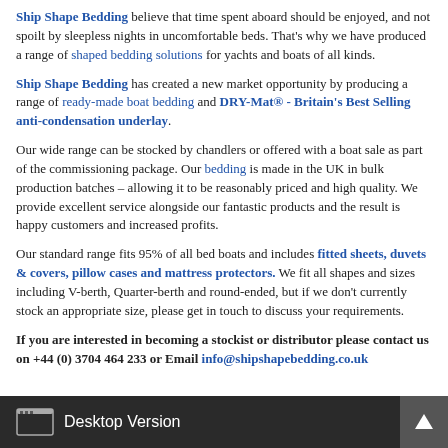Ship Shape Bedding believe that time spent aboard should be enjoyed, and not spoilt by sleepless nights in uncomfortable beds. That's why we have produced a range of shaped bedding solutions for yachts and boats of all kinds.
Ship Shape Bedding has created a new market opportunity by producing a range of ready-made boat bedding and DRY-Mat® - Britain's Best Selling anti-condensation underlay.
Our wide range can be stocked by chandlers or offered with a boat sale as part of the commissioning package. Our bedding is made in the UK in bulk production batches – allowing it to be reasonably priced and high quality. We provide excellent service alongside our fantastic products and the result is happy customers and increased profits.
Our standard range fits 95% of all bed boats and includes fitted sheets, duvets & covers, pillow cases and mattress protectors. We fit all shapes and sizes including V-berth, Quarter-berth and round-ended, but if we don't currently stock an appropriate size, please get in touch to discuss your requirements.
If you are interested in becoming a stockist or distributor please contact us on +44 (0) 3704 464 233 or Email info@shipshapebedding.co.uk
Desktop Version